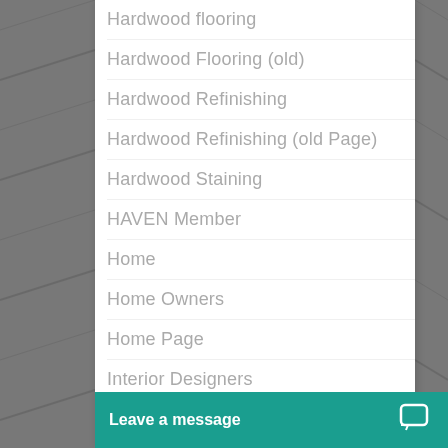Hardwood flooring
Hardwood Flooring (old)
Hardwood Refinishing
Hardwood Refinishing (old Page)
Hardwood Staining
HAVEN Member
Home
Home Owners
Home Page
Interior Designers
Laminate Flooring
My account
NWFA Member
Leave a message